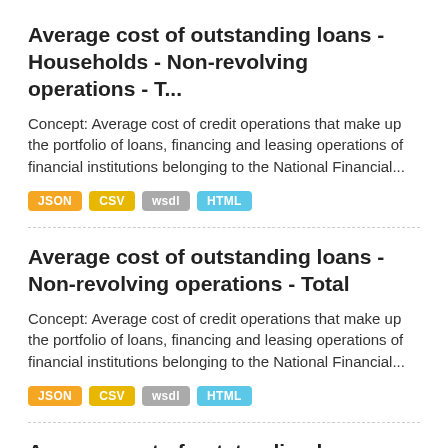Average cost of outstanding loans - Households - Non-revolving operations - T...
Concept: Average cost of credit operations that make up the portfolio of loans, financing and leasing operations of financial institutions belonging to the National Financial...
JSON CSV wsdl HTML
Average cost of outstanding loans - Non-revolving operations - Total
Concept: Average cost of credit operations that make up the portfolio of loans, financing and leasing operations of financial institutions belonging to the National Financial...
JSON CSV wsdl HTML
Average cost of outstanding loans - Nonearmarked - Non financial corporations...
Concept: Average cost of credit operations that make up the portfolio of loans, financing and leasing operations of